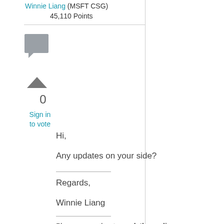Winnie Liang (MSFT CSG) 45,110 Points
[Figure (other): Gray square chat/comment icon]
[Figure (other): Upward triangle vote arrow]
0
Sign in to vote
Hi,
Any updates on your side?
Regards,
Winnie Liang
Please remember to mark the replies as answers if they helped. If you have feedback for TechNet Subscriber Support, contact